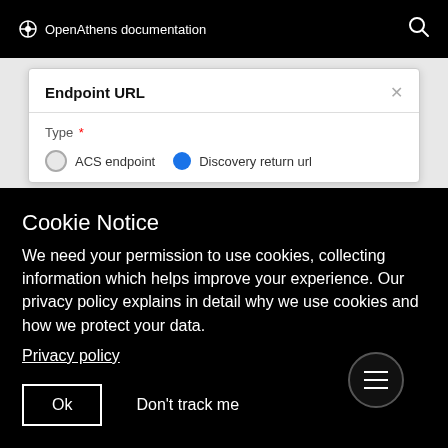OpenAthens documentation
Endpoint URL
Type * ACS endpoint  Discovery return url
Cookie Notice
We need your permission to use cookies, collecting information which helps improve your experience. Our privacy policy explains in detail why we use cookies and how we protect your data.
Privacy policy
Ok  Don't track me